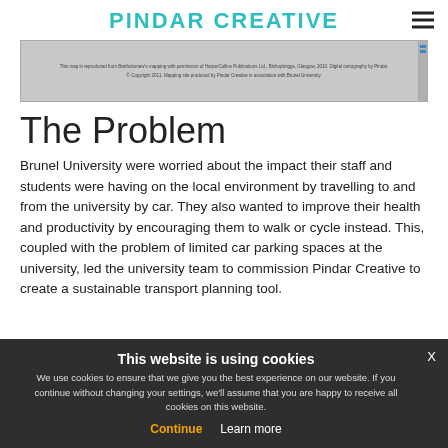PINDAR CREATIVE
[Figure (screenshot): Screenshot of a map webpage with two lines of small text: 'This map is reproduced from Bartholomew's mapping with permission of HarperCollins Publications Ltd., Bishopbriggs, Glasgow, 2010. Digital cartography by Pindar.' and '© Copyright 2011. Mapping site produced by Pindar Creative in association with Brunel University.']
The Problem
Brunel University were worried about the impact their staff and students were having on the local environment by travelling to and from the university by car. They also wanted to improve their health and productivity by encouraging them to walk or cycle instead. This, coupled with the problem of limited car parking spaces at the university, led the university team to commission Pindar Creative to create a sustainable transport planning tool.
This website is using cookies
We use cookies to ensure that we give you the best experience on our website. If you continue without changing your settings, we'll assume that you are happy to receive all cookies on this website.
Continue   Learn more